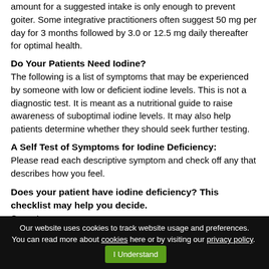amount for a suggested intake is only enough to prevent goiter. Some integrative practitioners often suggest 50 mg per day for 3 months followed by 3.0 or 12.5 mg daily thereafter for optimal health.
Do Your Patients Need Iodine?
The following is a list of symptoms that may be experienced by someone with low or deficient iodine levels. This is not a diagnostic test. It is meant as a nutritional guide to raise awareness of suboptimal iodine levels. It may also help patients determine whether they should seek further testing.
A Self Test of Symptoms for Iodine Deficiency:
Please read each descriptive symptom and check off any that describes how you feel.
Does your patient have iodine deficiency? This checklist may help you decide.
Symptoms:
Sensitivity to cold: The iodine...
Our website uses cookies to track website usage and preferences. You can read more about cookies here or by visiting our privacy policy.